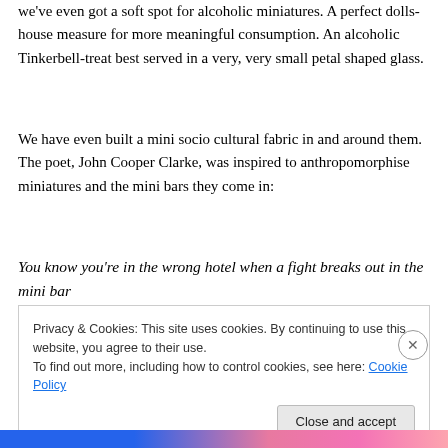we've even got a soft spot for alcoholic miniatures. A perfect dolls-house measure for more meaningful consumption. An alcoholic Tinkerbell-treat best served in a very, very small petal shaped glass.
We have even built a mini socio cultural fabric in and around them. The poet, John Cooper Clarke, was inspired to anthropomorphise miniatures and the mini bars they come in:
You know you're in the wrong hotel when a fight breaks out in the mini bar
Privacy & Cookies: This site uses cookies. By continuing to use this website, you agree to their use.
To find out more, including how to control cookies, see here: Cookie Policy